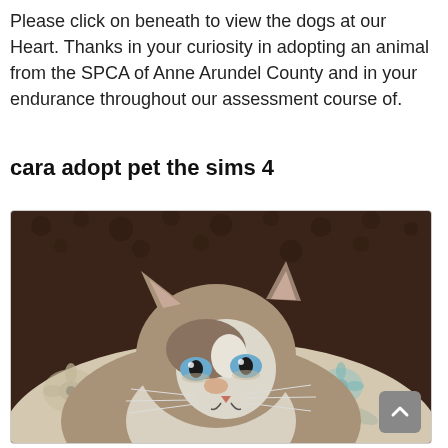Please click on beneath to view the dogs at our Heart. Thanks in your curiosity in adopting an animal from the SPCA of Anne Arundel County and in your endurance throughout our assessment course of.
cara adopt pet the sims 4
[Figure (photo): A close-up photo of a Siamese/Ragdoll-type cat with blue eyes, brown and white fur, sitting on a floral patterned cushion. The background shows a dark brown leopard-print fabric.]